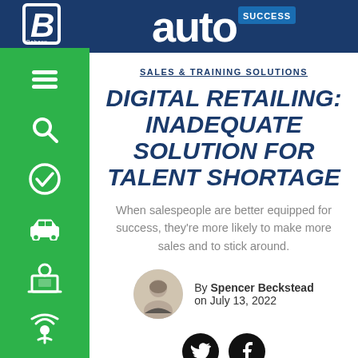[Figure (logo): Auto Success magazine logo in white on dark blue header bar]
[Figure (logo): Babcox B logo in white on dark blue sidebar header]
SALES & TRAINING SOLUTIONS
DIGITAL RETAILING: INADEQUATE SOLUTION FOR TALENT SHORTAGE
When salespeople are better equipped for success, they're more likely to make more sales and to stick around.
By Spencer Beckstead on July 13, 2022
[Figure (photo): Circular headshot photo of Spencer Beckstead]
[Figure (infographic): Twitter and Facebook social share buttons (black circles with white icons)]